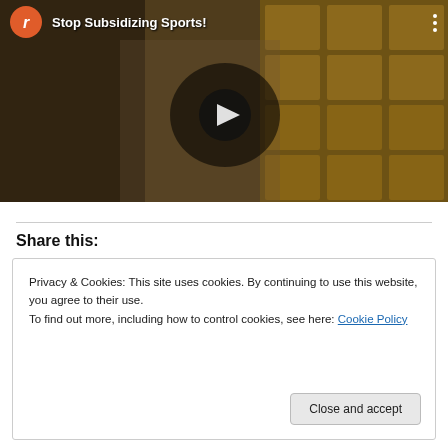[Figure (screenshot): YouTube-style video thumbnail showing a man in a gray blazer and NY baseball cap standing in a locker room, with a play button overlay. Channel icon shows 'r' in orange circle. Title reads 'Stop Subsidizing Sports!' with a vertical ellipsis menu icon.]
Share this:
Privacy & Cookies: This site uses cookies. By continuing to use this website, you agree to their use.
To find out more, including how to control cookies, see here: Cookie Policy
Close and accept